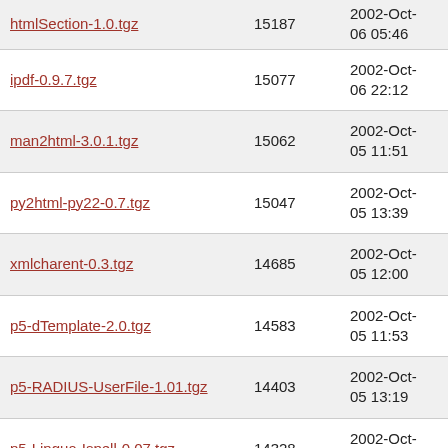| Filename | Size | Date |
| --- | --- | --- |
| htmlSection-1.0.tgz | 15187 | 2002-Oct-06 05:46 |
| ipdf-0.9.7.tgz | 15077 | 2002-Oct-06 22:12 |
| man2html-3.0.1.tgz | 15062 | 2002-Oct-05 11:51 |
| py2html-py22-0.7.tgz | 15047 | 2002-Oct-05 13:39 |
| xmlcharent-0.3.tgz | 14685 | 2002-Oct-05 12:00 |
| p5-dTemplate-2.0.tgz | 14583 | 2002-Oct-05 11:53 |
| p5-RADIUS-UserFile-1.01.tgz | 14403 | 2002-Oct-05 13:19 |
| p5-Lingua-Ispell-0.07.tgz | 14328 | 2002-Oct-05 13:47 |
| p5-URI-Find-0.11.tgz | 14313 | 2002-Oct-05 13:48 |
| cbedic-1.2.tgz | 14228 | 2002-Oct-05 13:45 |
| p5-Tree-Nary-1.21.tgz | 13976 | 2002-Oct-05 11:53 |
| p5-Text-Filter-1.7.tgz | 13551 | 2002-Oct- |